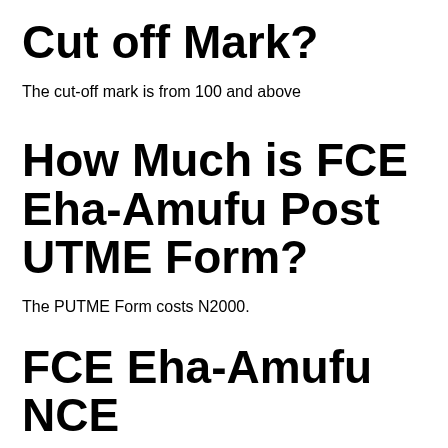Cut off Mark?
The cut-off mark is from 100 and above
How Much is FCE Eha-Amufu Post UTME Form?
The PUTME Form costs N2000.
FCE Eha-Amufu NCE